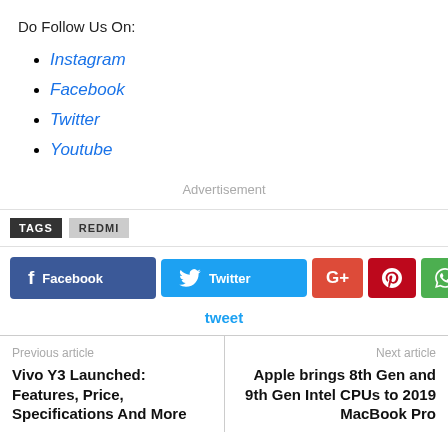Do Follow Us On:
Instagram
Facebook
Twitter
Youtube
Advertisement
TAGS  REDMI
Facebook  Twitter  G+  Pinterest  WhatsApp
tweet
Previous article
Vivo Y3 Launched: Features, Price, Specifications And More
Next article
Apple brings 8th Gen and 9th Gen Intel CPUs to 2019 MacBook Pro